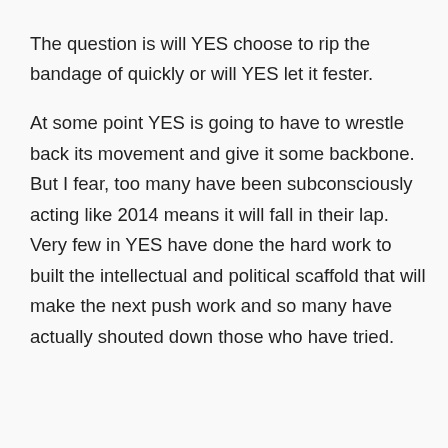The question is will YES choose to rip the bandage of quickly or will YES let it fester.
At some point YES is going to have to wrestle back its movement and give it some backbone. But I fear, too many have been subconsciously acting like 2014 means it will fall in their lap. Very few in YES have done the hard work to built the intellectual and political scaffold that will make the next push work and so many have actually shouted down those who have tried.